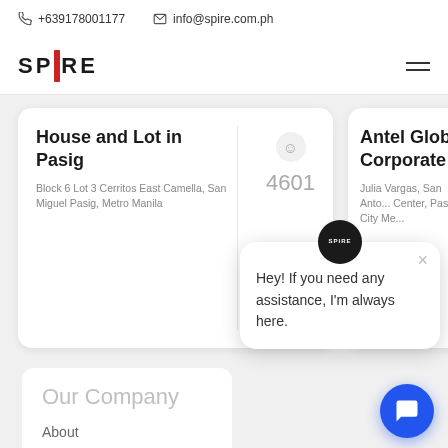+639178001177   info@spire.com.ph
[Figure (logo): SPIRE real estate logo with red vertical bar between S P and I R E]
House and Lot in Pasig
Block 6 Lot 3 Cerritos East Camella, San Miguel Pasig, Metro Manila
4601
Antel Global Corporate C...
Julia Vargas, San Anto... Center, Pasig City Me...
Our Company
About
Privacy Policy
Join Our Team
Contact Us
Hey! If you need any assistance, I'm always here.